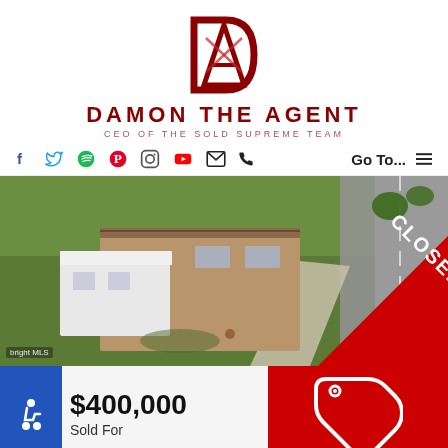[Figure (logo): Damon The Agent logo — stylized DA monogram in dark red with triangular A shape]
DAMON THE AGENT
CEO OF THE SOLD SUPREME TEAM
[Figure (other): Navigation bar with social media icons: Facebook, Twitter, Spotify, Pinterest, Instagram, YouTube, Email, Phone; and Go To... menu]
[Figure (photo): Aerial drone photo of a single-story brick house with white roof additions, green lawn, driveway, with a red CLOSED diagonal banner in the bottom right corner]
$400,000
Sold For
[Figure (other): Price tag icon in white on red background]